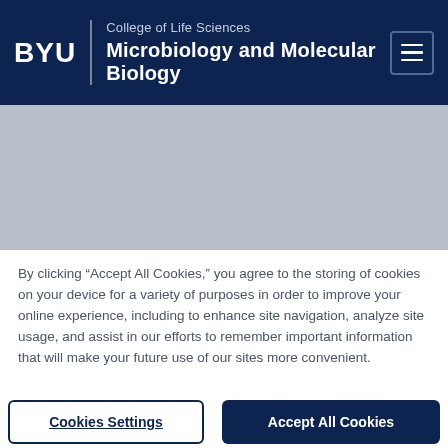BYU | College of Life Sciences | Microbiology and Molecular Biology
[Figure (photo): Gray placeholder hero image area for BYU Microbiology and Molecular Biology department page]
By clicking “Accept All Cookies,” you agree to the storing of cookies on your device for a variety of purposes in order to improve your online experience, including to enhance site navigation, analyze site usage, and assist in our efforts to remember important information that will make your future use of our sites more convenient.
Cookies Settings | Accept All Cookies